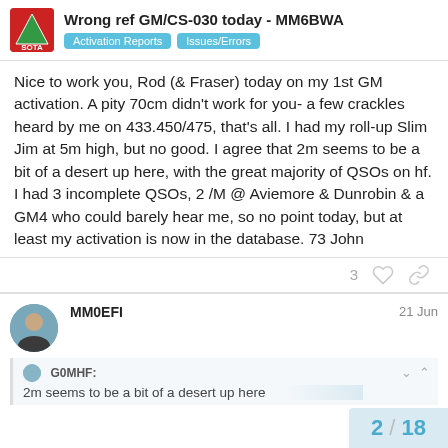Wrong ref GM/CS-030 today - MM6BWA | Activation Reports | Issues/Errors
Nice to work you, Rod (& Fraser) today on my 1st GM activation. A pity 70cm didn't work for you- a few crackles heard by me on 433.450/475, that's all. I had my roll-up Slim Jim at 5m high, but no good. I agree that 2m seems to be a bit of a desert up here, with the great majority of QSOs on hf.
I had 3 incomplete QSOs, 2 /M @ Aviemore & Dunrobin & a GM4 who could barely hear me, so no point today, but at least my activation is now in the database. 73 John
3
MM0EFI  21 Jun
G0MHF:
2m seems to be a bit of a desert up here
2 / 18